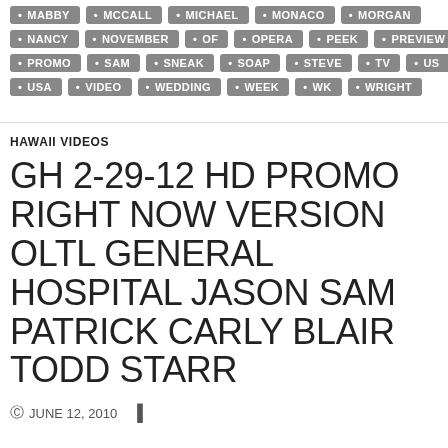MABBY • MCCALL • MICHAEL • MONACO • MORGAN
NANCY • NOVEMBER • OF • OPERA • PEEK • PREVIEW
PROMO • SAM • SNEAK • SOAP • STEVE • TV • US
USA • VIDEO • WEDDING • WEEK • WK • WRIGHT
HAWAII VIDEOS
GH 2-29-12 HD PROMO RIGHT NOW VERSION OLTL GENERAL HOSPITAL JASON SAM PATRICK CARLY BLAIR TODD STARR
JUNE 12, 2010